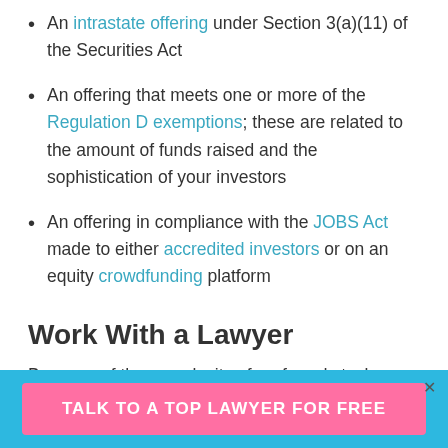An intrastate offering under Section 3(a)(11) of the Securities Act
An offering that meets one or more of the Regulation D exemptions; these are related to the amount of funds raised and the sophistication of your investors
An offering in compliance with the JOBS Act made to either accredited investors or on an equity crowdfunding platform
Work With a Lawyer
Because of the complexity of preferred stock agreements and securities compliance requirements,
TALK TO A TOP LAWYER FOR FREE